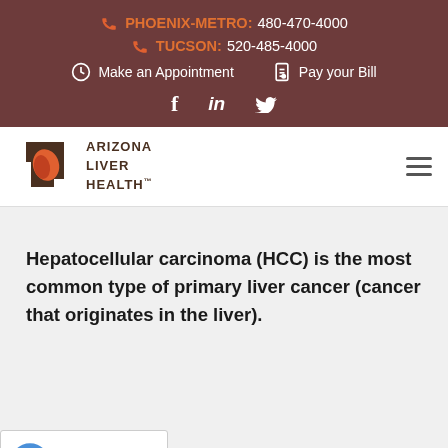PHOENIX-METRO: 480-470-4000 | TUCSON: 520-485-4000 | Make an Appointment | Pay your Bill
[Figure (logo): Arizona Liver Health logo with Arizona state shape in orange/brown and text 'ARIZONA LIVER HEALTH']
Hepatocellular carcinoma (HCC) is the most common type of primary liver cancer (cancer that originates in the liver).
The most common type of primary liver